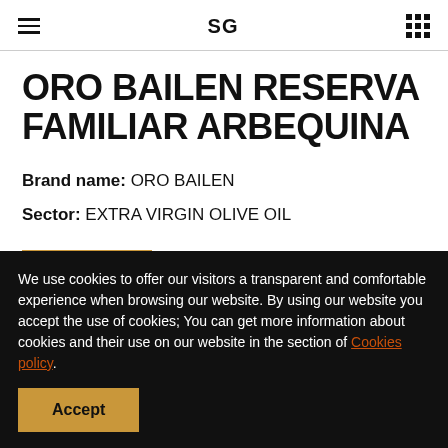SG
ORO BAILEN RESERVA FAMILIAR ARBEQUINA
Brand name: ORO BAILEN
Sector: EXTRA VIRGIN OLIVE OIL
More ...
We use cookies to offer our visitors a transparent and comfortable experience when browsing our website. By using our website you accept the use of cookies; You can get more information about cookies and their use on our website in the section of Cookies policy.
Accept